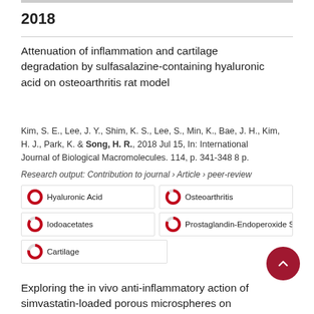2018
Attenuation of inflammation and cartilage degradation by sulfasalazine-containing hyaluronic acid on osteoarthritis rat model
Kim, S. E., Lee, J. Y., Shim, K. S., Lee, S., Min, K., Bae, J. H., Kim, H. J., Park, K. & Song, H. R., 2018 Jul 15, In: International Journal of Biological Macromolecules. 114, p. 341-348 8 p.
Research output: Contribution to journal › Article › peer-review
Hyaluronic Acid
Osteoarthritis
Iodoacetates
Prostaglandin-Endoperoxide Sy
Cartilage
Exploring the in vivo anti-inflammatory action of simvastatin-loaded porous microspheres on